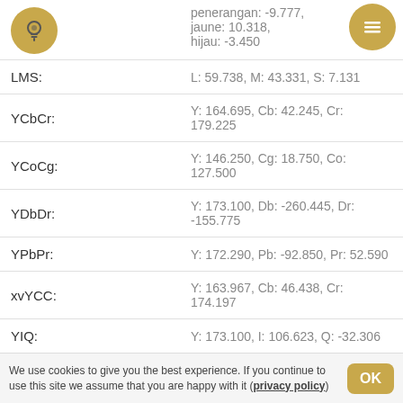OSA-UCS: penerangan: -9.777, jaune: 10.318, hijau: -3.450
LMS: L: 59.738, M: 43.331, S: 7.131
YCbCr: Y: 164.695, Cb: 42.245, Cr: 179.225
YCoCg: Y: 146.250, Cg: 18.750, Co: 127.500
YDbDr: Y: 173.100, Db: -260.445, Dr: -155.775
YPbPr: Y: 172.290, Pb: -92.850, Pr: 52.590
xvYCC: Y: 163.967, Cb: 46.438, Cr: 174.197
YIQ: Y: 173.100, I: 106.623, Q: -32.306
YUV: Y: 173.100, U: -85.180, V: 71.852
Sistem Warna Munsell: 10YR 8/14 ΔE = 5.011
Warna Merek: Southwest Airlines Sunrise Yellow
We use cookies to give you the best experience. If you continue to use this site we assume that you are happy with it (privacy policy)